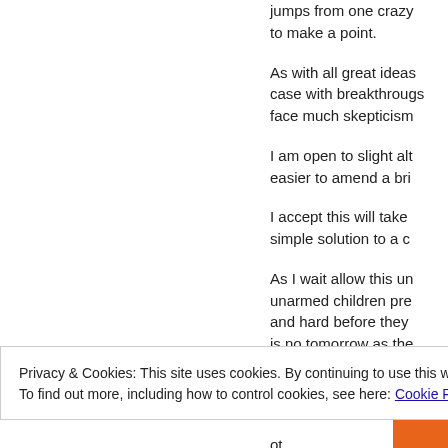jumps from one crazy to make a point.
As with all great ideas case with breakthroughs face much skepticism
I am open to slight alt easier to amend a bri
I accept this will take simple solution to a c
As I wait allow this unarmed children pre and hard before they is no tomorrow as the
, t gu roth thi
Privacy & Cookies: This site uses cookies. By continuing to use this website, you agree to their use.
To find out more, including how to control cookies, see here: Cookie Policy
Close and accept